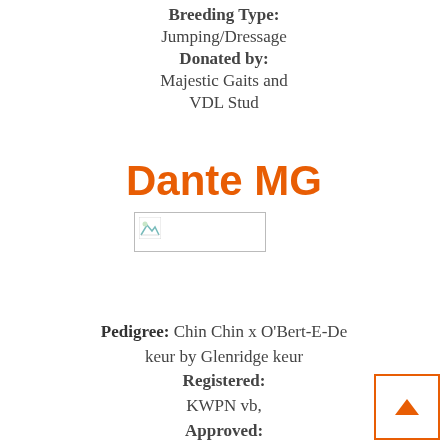Breeding Type: Jumping/Dressage
Donated by: Majestic Gaits and VDL Stud
Dante MG
[Figure (photo): Image placeholder for Dante MG horse photo]
Pedigree: Chin Chin x O'Bert-E-Dekeur by Glenridge keur
Registered: KWPN vb,
Approved: Oldenburg GOV
Service Type: Fresh
Breeding Type: